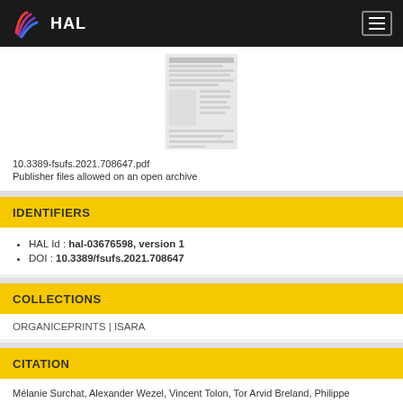HAL
[Figure (screenshot): Thumbnail preview of a PDF document page]
10.3389-fsufs.2021.708647.pdf
Publisher files allowed on an open archive
IDENTIFIERS
HAL Id : hal-03676598, version 1
DOI : 10.3389/fsufs.2021.708647
COLLECTIONS
ORGANICEPRINTS | ISARA
CITATION
Mélanie Surchat, Alexander Wezel, Vincent Tolon, Tor Arvid Breland, Philippe Couraud, et al.. Soil and Pest Management in French Polynesian Farming Systems and Drivers and Barriers for Implementation of Practices